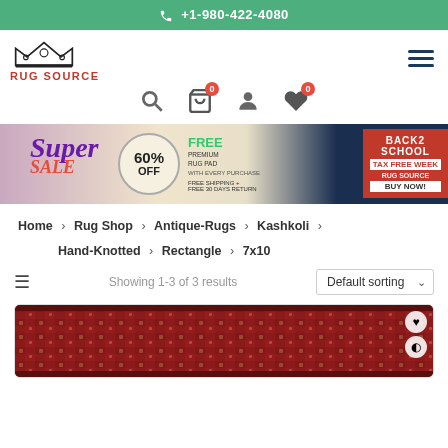+1-980-422-4080
[Figure (logo): Rug Source logo with crown graphic and red text]
[Figure (infographic): Super Sale banner: 60% OFF, FREE Premium Rug Pad, Back2School Tax Free Week, Buy Now]
Home > Rug Shop > Antique-Rugs > Kashkoli > Hand-Knotted > Rectangle > 7x10
Showing 1-3 of 3 results  Default sorting
[Figure (photo): Antique Kashkoli rug product thumbnail image]